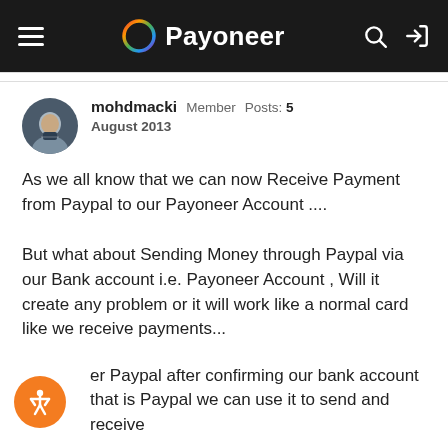Payoneer
mohdmacki   Member   Posts: 5
August 2013
As we all know that we can now Receive Payment from Paypal to our Payoneer Account ....
But what about Sending Money through Paypal via our Bank account i.e. Payoneer Account , Will it create any problem or it will work like a normal card like we receive payments...
er Paypal after confirming our bank account that is Paypal we can use it to send and receive